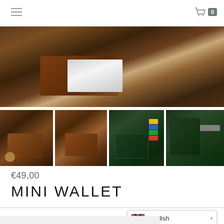Navigation menu and shopping cart (0 items)
[Figure (photo): Close-up photo of a brown leather mini wallet on a wooden surface, showing card holder detail]
[Figure (photo): Thumbnail 1: Brown leather mini wallet open on wooden table with coffee cup]
[Figure (photo): Thumbnail 2: Brown leather mini wallet closed on wooden surface]
[Figure (photo): Thumbnail 3: Dark green leather mini wallet with colorful cards on wooden table]
[Figure (photo): Thumbnail 4: Dark green leather mini wallet partially visible]
€49,00
MINI WALLET